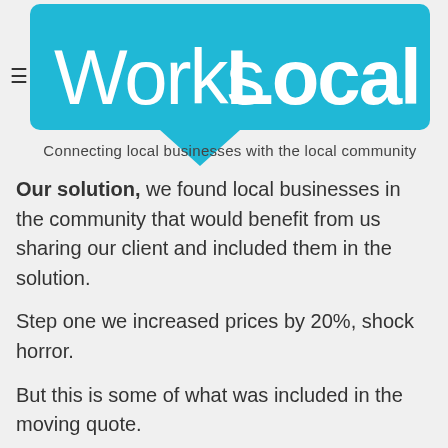[Figure (logo): WorksLocal logo — cyan/teal speech bubble shape with white text 'WorksLocal' and tagline 'Connecting local businesses with the local community']
Our solution, we found local businesses in the community that would benefit from us sharing our client and included them in the solution.
Step one we increased prices by 20%, shock horror.
But this is some of what was included in the moving quote.
On the day of packing, the local pizza shop delivered them a pizza. Not from where they lived but the new neighbourhood they were moving to. If you're like me, find a